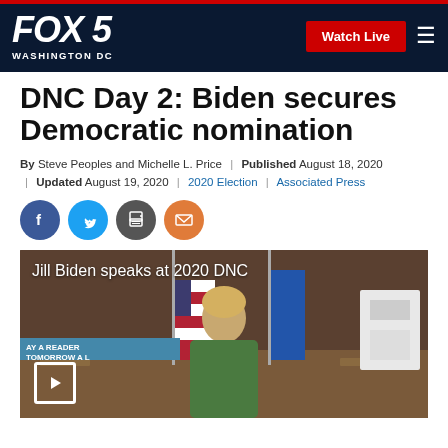FOX 5 WASHINGTON DC — Watch Live
DNC Day 2: Biden secures Democratic nomination
By Steve Peoples and Michelle L. Price | Published August 18, 2020 | Updated August 19, 2020 | 2020 Election | Associated Press
[Figure (other): Social sharing icons: Facebook, Twitter, Print, Email]
[Figure (screenshot): Video thumbnail showing Jill Biden speaking at 2020 DNC, with text overlay 'Jill Biden speaks at 2020 DNC' and a play button]